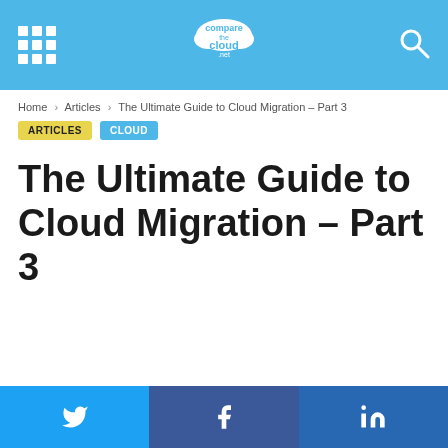compare the cloud [logo] [search icon]
Home > Articles > The Ultimate Guide to Cloud Migration – Part 3
ARTICLES   CLOUD
The Ultimate Guide to Cloud Migration – Part 3
[Twitter share] [Facebook share] [LinkedIn share]